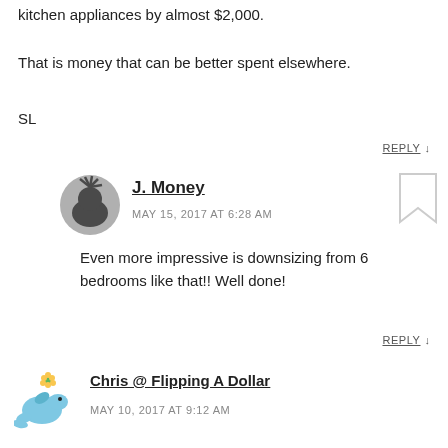kitchen appliances by almost $2,000.
That is money that can be better spent elsewhere.
SL
REPLY ↓
[Figure (photo): Black and white circular avatar photo of J. Money]
J. Money
MAY 15, 2017 AT 6:28 AM
Even more impressive is downsizing from 6 bedrooms like that!! Well done!
REPLY ↓
[Figure (illustration): Cartoon blue dolphin avatar for Chris @ Flipping A Dollar]
Chris @ Flipping A Dollar
MAY 10, 2017 AT 9:12 AM